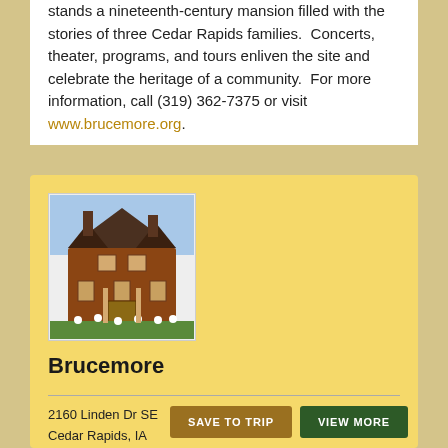stands a nineteenth-century mansion filled with the stories of three Cedar Rapids families. Concerts, theater, programs, and tours enliven the site and celebrate the heritage of a community. For more information, call (319) 362-7375 or visit www.brucemore.org.
[Figure (photo): Photo of Brucemore mansion, a large Victorian brick building with ornate architecture, shown with flowers in the foreground]
Brucemore
2160 Linden Dr SE
Cedar Rapids, IA
319-362-7375
[Figure (illustration): Three small category icons representing different types of activities or attractions]